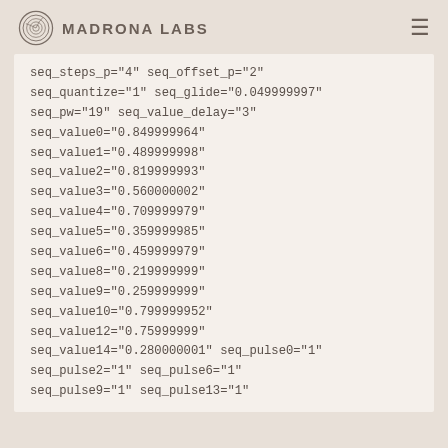Madrona Labs
seq_steps_p="4" seq_offset_p="2"
seq_quantize="1" seq_glide="0.049999997"
seq_pw="19" seq_value_delay="3"
seq_value0="0.849999964"
seq_value1="0.489999998"
seq_value2="0.819999993"
seq_value3="0.560000002"
seq_value4="0.709999979"
seq_value5="0.359999985"
seq_value6="0.459999979"
seq_value8="0.219999999"
seq_value9="0.259999999"
seq_value10="0.799999952"
seq_value12="0.75999999"
seq_value14="0.280000001" seq_pulse0="1"
seq_pulse2="1" seq_pulse6="1"
seq_pulse9="1" seq_pulse13="1"